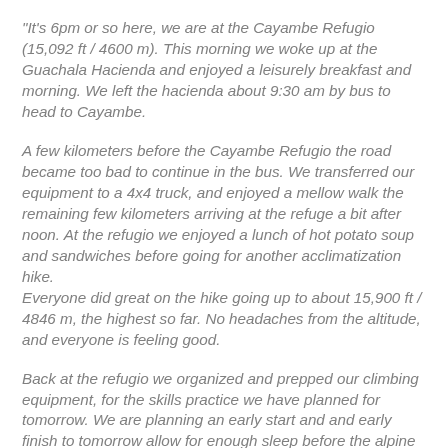"It's 6pm or so here, we are at the Cayambe Refugio (15,092 ft / 4600 m). This morning we woke up at the Guachala Hacienda and enjoyed a leisurely breakfast and morning. We left the hacienda about 9:30 am by bus to head to Cayambe.
A few kilometers before the Cayambe Refugio the road became too bad to continue in the bus. We transferred our equipment to a 4x4 truck, and enjoyed a mellow walk the remaining few kilometers arriving at the refuge a bit after noon. At the refugio we enjoyed a lunch of hot potato soup and sandwiches before going for another acclimatization hike.
Everyone did great on the hike going up to about 15,900 ft / 4846 m, the highest so far. No headaches from the altitude, and everyone is feeling good.
Back at the refugio we organized and prepped our climbing equipment, for the skills practice we have planned for tomorrow. We are planning an early start and and early finish to tomorrow allow for enough sleep before the alpine start on summit day.